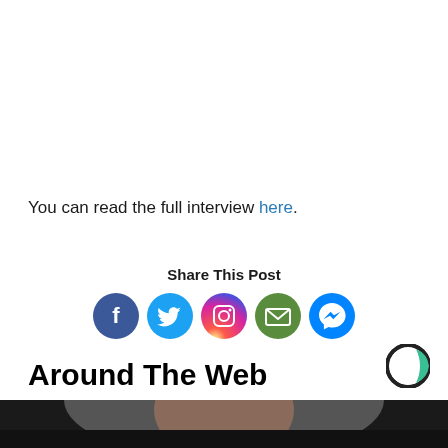You can read the full interview here.
Share This Post
[Figure (infographic): Social share buttons: Facebook, Twitter, Instagram, Email, Messenger]
Around The Web
[Figure (photo): Partial photo strip at the bottom of the page, showing a person]